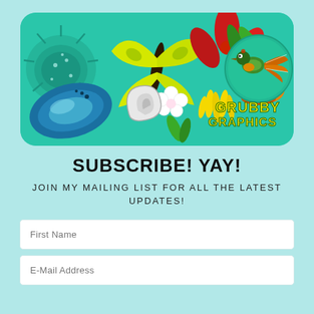[Figure (illustration): Grubby Graphics banner logo featuring colorful New Zealand nature illustrations including a sea urchin, butterfly/moth, red flower, snail, fantail bird, fish, shells, white flowers, and kowhai flowers on a teal/turquoise background with 'GRUBBY GRAPHICS' text in the bottom right.]
SUBSCRIBE! YAY!
JOIN MY MAILING LIST FOR ALL THE LATEST UPDATES!
First Name
E-Mail Address